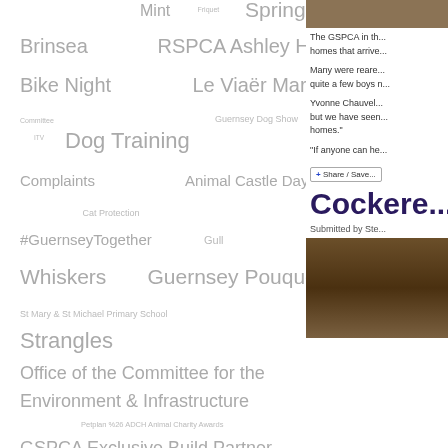[Figure (infographic): Tag cloud with various animal charity and GSPCA-related terms in varying sizes and gray tones]
The GSPCA in th... homes that arrive...
Many were reare... quite a few boys n...
Yvonne Chauvel... but we have seen... homes."
"If anyone can he...
Share / Save
Cockere...
Submitted by Ste...
[Figure (photo): Photo of chickens/cockerels in a pen with straw/earth ground]